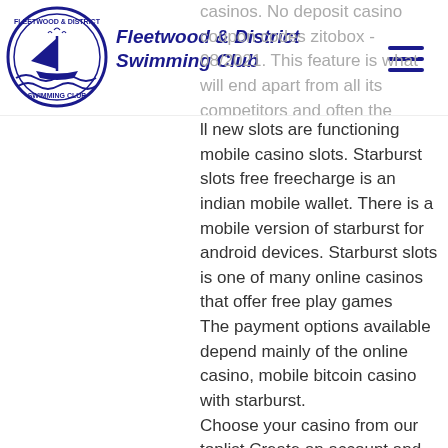Fleetwood & District Swimming Club
casinos. No deposit casino coupon codes zitobox - 08/2021. This feature is what will end apart from all its competitors and often the reason why players will choose a particular bitcoin casino. Simply put, all new slots are functioning mobile casino slots. Starburst slots free freecharge is an indian mobile wallet. There is a mobile version of starburst for android devices. Starburst slots is one of many online casinos that offer free play games
The payment options available depend mainly of the online casino, mobile bitcoin casino with starburst.
Choose your casino from our toplist Create an account and make sure to claim the welcome bonus Make your first deposit using RoyalPay or any other method Go to the casino game lobby and find the best online roulette games Select 'play' and place your first bet! Discover live dealer roulette, best casino vancouver. Live dealer roulette is